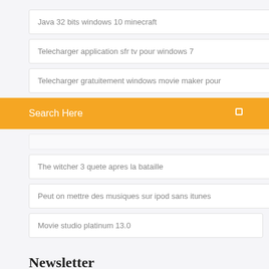Java 32 bits windows 10 minecraft
Telecharger application sfr tv pour windows 7
Telecharger gratuitement windows movie maker pour
Search Here
The witcher 3 quete apres la bataille
Peut on mettre des musiques sur ipod sans itunes
Movie studio platinum 13.0
Newsletter